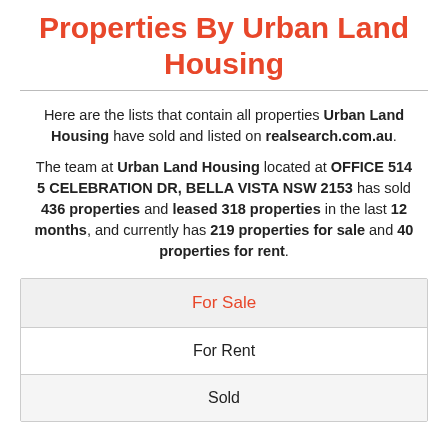Properties By Urban Land Housing
Here are the lists that contain all properties Urban Land Housing have sold and listed on realsearch.com.au.
The team at Urban Land Housing located at OFFICE 514 5 CELEBRATION DR, BELLA VISTA NSW 2153 has sold 436 properties and leased 318 properties in the last 12 months, and currently has 219 properties for sale and 40 properties for rent.
| For Sale |
| For Rent |
| Sold |